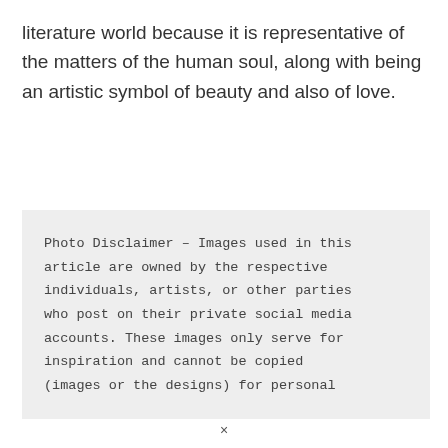literature world because it is representative of the matters of the human soul, along with being an artistic symbol of beauty and also of love.
Photo Disclaimer – Images used in this article are owned by the respective individuals, artists, or other parties who post on their private social media accounts. These images only serve for inspiration and cannot be copied (images or the designs) for personal
×